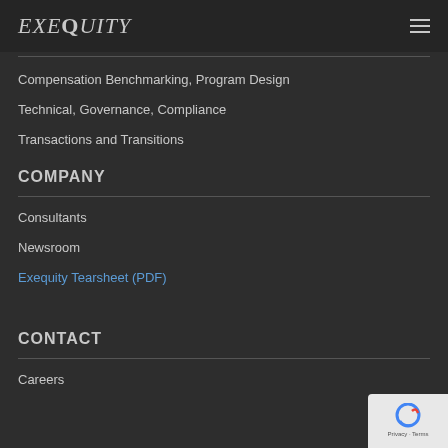EXEQUITY
Compensation Benchmarking, Program Design
Technical, Governance, Compliance
Transactions and Transitions
COMPANY
Consultants
Newsroom
Exequity Tearsheet (PDF)
CONTACT
Careers